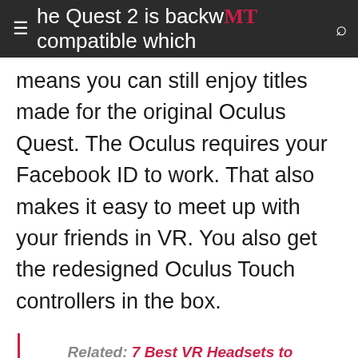The Quest 2 is backward MT compatible which
means you can still enjoy titles made for the original Oculus Quest. The Oculus requires your Facebook ID to work. That also makes it easy to meet up with your friends in VR. You also get the redesigned Oculus Touch controllers in the box.
Related: 7 Best VR Headsets to Experience Virtual Reality iPhone & Android
5G WiFi FPV Drone with 4K
Camera